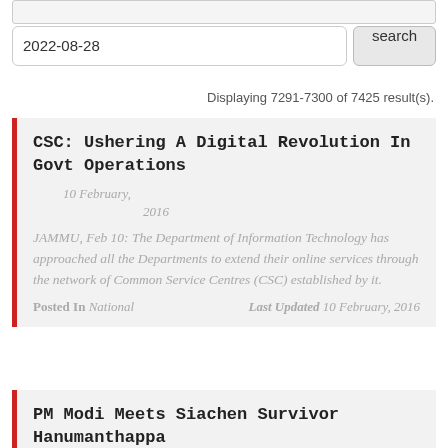2022-08-28
search
Displaying 7291-7300 of 7425 result(s).
CSC: Ushering A Digital Revolution In Govt Operations
10 February, 2016
JAMMU, Feb 10: The Department of Information Technology has approached all the Departments to extend their online services through the network of Common Service Centres (CSC) established by it.
Posted In National   Last Updated 10 February, 2016
PM Modi Meets Siachen Survivor Hanumanthappa